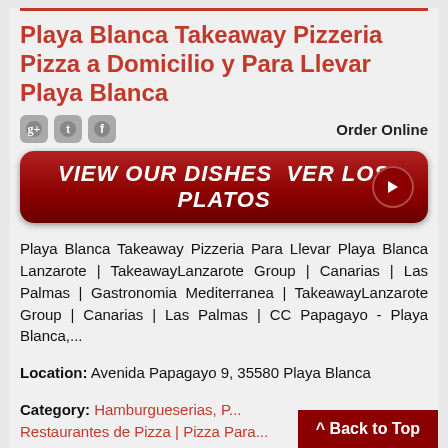Playa Blanca Takeaway Pizzeria Pizza a Domicilio y Para Llevar Playa Blanca
[Figure (other): Social media icons (Google+, Twitter, Facebook) and Order Online text, then a red button reading VIEW OUR DISHES VER LOS PLATOS with arrow]
Playa Blanca Takeaway Pizzeria Para Llevar Playa Blanca Lanzarote | TakeawayLanzarote Group | Canarias | Las Palmas | Gastronomia Mediterranea | TakeawayLanzarote Group | Canarias | Las Palmas | CC Papagayo - Playa Blanca,...
Location: Avenida Papagayo 9, 35580 Playa Blanca
Category: Hamburgueserias, P... Restaurantes de Pizza | Pizza Para...